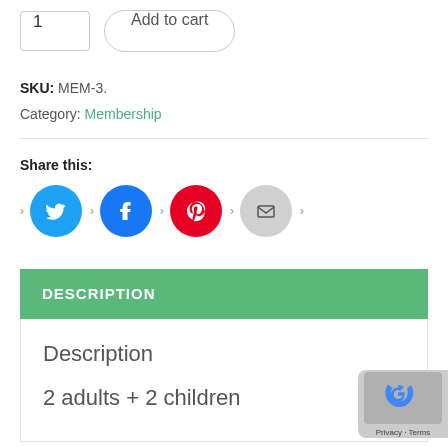1
Add to cart
SKU: MEM-3.
Category: Membership
Share this:
[Figure (illustration): Social share icons: Twitter (blue circle), Facebook (blue circle), Pinterest (red circle), Email (gray circle)]
DESCRIPTION
Description
2 adults + 2 children